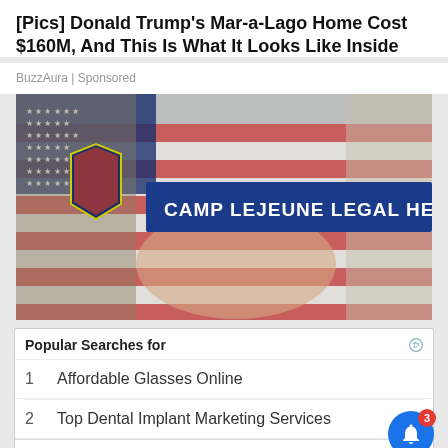[Pics] Donald Trump's Mar-a-Lago Home Cost $160M, And This Is What It Looks Like Inside
BuzzAura | Sponsored
[Figure (photo): Advertisement image showing two people shaking hands in front of an American flag, with a banner reading 'CAMP LEJEUNE LEGAL HELP' and a shield logo with military imagery on the left.]
Popular Searches for
1  Affordable Glasses Online
2  Top Dental Implant Marketing Services
Yahoo! Search | Sponsored